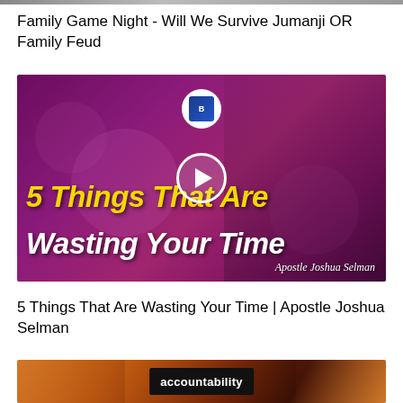[Figure (screenshot): Partial top thumbnail image cropped at top of page]
Family Game Night - Will We Survive Jumanji OR Family Feud
[Figure (screenshot): Video thumbnail with purple background showing a man speaking into a microphone with text '5 Things That Are Wasting Your Time' and 'Apostle Joshua Selman' with channel logo and play button]
5 Things That Are Wasting Your Time | Apostle Joshua Selman
[Figure (screenshot): Partial thumbnail showing two women with autumn leaves and a dark box with 'accountability' text]